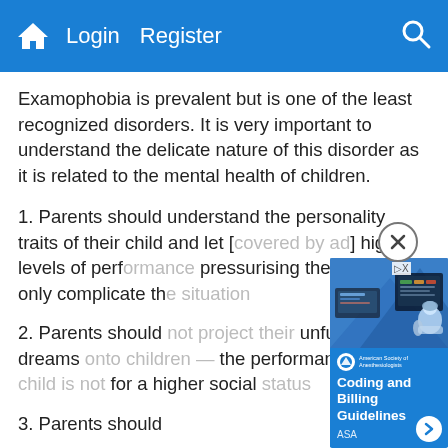Home  Login  Register  Search
Examophobia is prevalent but is one of the least recognized disorders. It is very important to understand the delicate nature of this disorder as it is related to the mental health of children.
1. Parents should understand the personality traits of their child and let [ad overlaps] high levels of perf[ormance —] pressurising the ch[ild will] only complicate th[e situation]
2. Parents should [not project their] unfulfilled dreams [onto children —] the performance o[f the child is not] for a higher social [status]
3. Parents should [...]
[Figure (screenshot): Advertisement overlay showing a medical/anesthesiology scene with a healthcare worker at a computer workstation with medical monitors, and text 'Coding and Billing Guidelines' with ASA logo and a forward arrow button.]